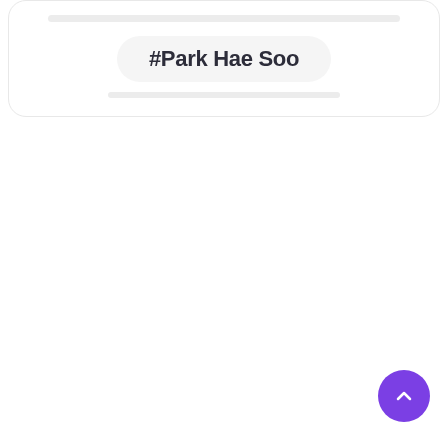#Park Hae Soo
[Figure (other): Back to top button — purple circular button with upward chevron arrow]